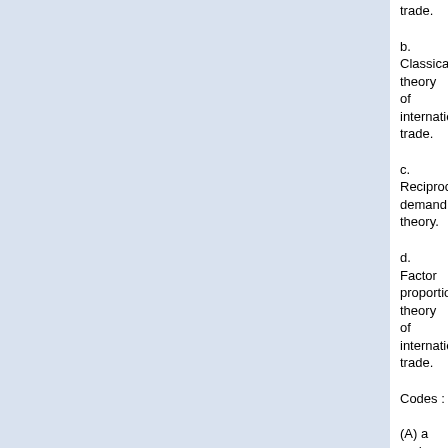trade.
b. Classical theory of international trade.
c. Reciprocal demand theory.
d. Factor proportions theory of international trade.
Codes :
(A) a and b
(B) b and c
(C) ...